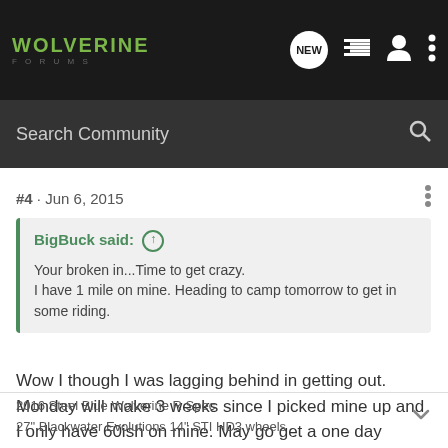WOLVERINE FORUMS [navigation bar with search]
#4 · Jun 6, 2015
BigBuck said: ↑
Your broken in...Time to get crazy.
I have 1 mile on mine. Heading to camp tomorrow to get in some riding.
Wow I though I was lagging behind in getting out. Monday will make 3 weeks since I picked mine up and I only have 60ish on mine. May go get a one day permit for one of our local ride areas this week to go mess around.
2016 Steel Blue Wolverine R Spec
27" Blackwater Evolutions 14" STI HD3 wheels